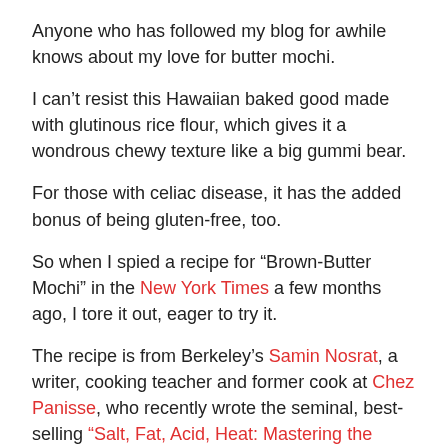Anyone who has followed my blog for awhile knows about my love for butter mochi.
I can't resist this Hawaiian baked good made with glutinous rice flour, which gives it a wondrous chewy texture like a big gummi bear.
For those with celiac disease, it has the added bonus of being gluten-free, too.
So when I spied a recipe for “Brown-Butter Mochi” in the New York Times a few months ago, I tore it out, eager to try it.
The recipe is from Berkeley’s Samin Nosrat, a writer, cooking teacher and former cook at Chez Panisse, who recently wrote the seminal, best-selling “Salt, Fat, Acid, Heat: Mastering the Elements of Good Cooking” (Simon & Schuster).